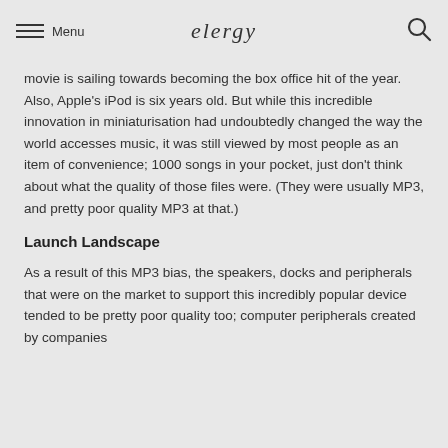Menu | elergy
movie is sailing towards becoming the box office hit of the year. Also, Apple's iPod is six years old. But while this incredible innovation in miniaturisation had undoubtedly changed the way the world accesses music, it was still viewed by most people as an item of convenience; 1000 songs in your pocket, just don't think about what the quality of those files were. (They were usually MP3, and pretty poor quality MP3 at that.)
Launch Landscape
As a result of this MP3 bias, the speakers, docks and peripherals that were on the market to support this incredibly popular device tended to be pretty poor quality too; computer peripherals created by companies